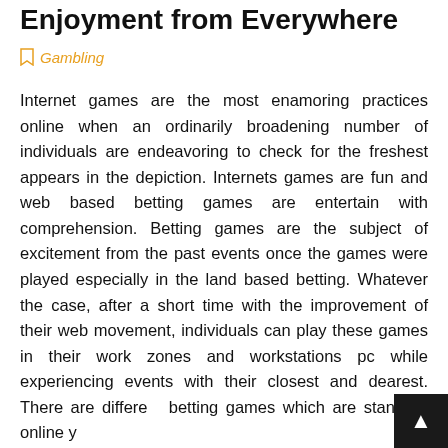Enjoyment from Everywhere
Gambling
Internet games are the most enamoring practices online when an ordinarily broadening number of individuals are endeavoring to check for the freshest appears in the depiction. Internets games are fun and web based betting games are entertain with comprehension. Betting games are the subject of excitement from the past events once the games were played especially in the land based betting. Whatever the case, after a short time with the improvement of their web movement, individuals can play these games in their work zones and workstations pc while experiencing events with their closest and dearest. There are different betting games which are standard online y...